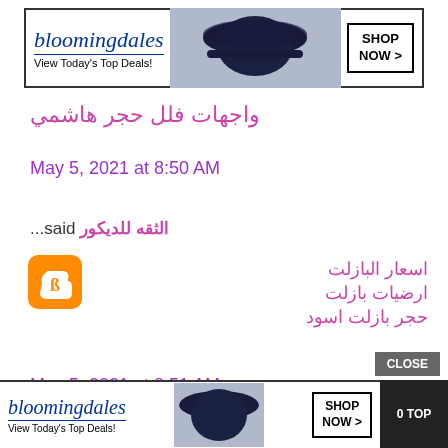[Figure (screenshot): Bloomingdale's advertisement banner at top: logo, 'View Today's Top Deals!', woman with hat, SHOP NOW button with border]
واجهات فلل حجر هاشمي
May 5, 2021 at 8:50 AM
الثقه للديكور said...
[Figure (logo): Blogger logo icon - orange speech bubble with 'B']
اسعار البازلت
ارضيات بازلت
حجر بازلت اسود
May 5, 2021 at 8:51 AM
الثقه للديكور said
[Figure (logo): Blogger logo icon - orange speech bubble with 'B']
CLOSE
[Figure (screenshot): Bloomingdale's advertisement banner at bottom: logo, 'View Today's Top Deals!', woman with hat, SHOP NOW button]
0 TOP